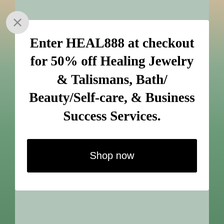[Figure (screenshot): Background landscape photo showing a riverside scene with trees and water, partially visible behind a modal overlay on left and right sides]
Enter HEAL888 at checkout for 50% off Healing Jewelry & Talismans, Bath/ Beauty/Self-care, & Business Success Services.
Shop now